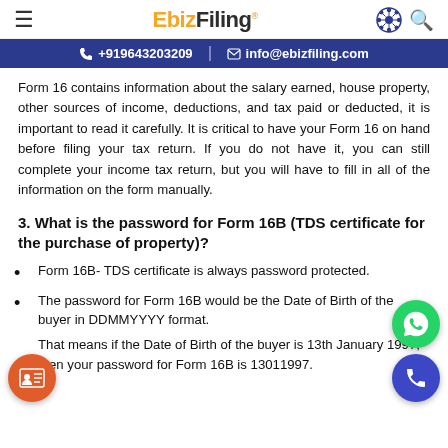EbizFiling
+919643203209 | info@ebizfiling.com
Form 16 contains information about the salary earned, house property, other sources of income, deductions, and tax paid or deducted, it is important to read it carefully. It is critical to have your Form 16 on hand before filing your tax return. If you do not have it, you can still complete your income tax return, but you will have to fill in all of the information on the form manually.
3. What is the password for Form 16B (TDS certificate for the purchase of property)?
Form 16B- TDS certificate is always password protected.
The password for Form 16B would be the Date of Birth of the buyer in DDMMYYYY format.
That means if the Date of Birth of the buyer is 13th January 1997, then your password for Form 16B is 13011997.